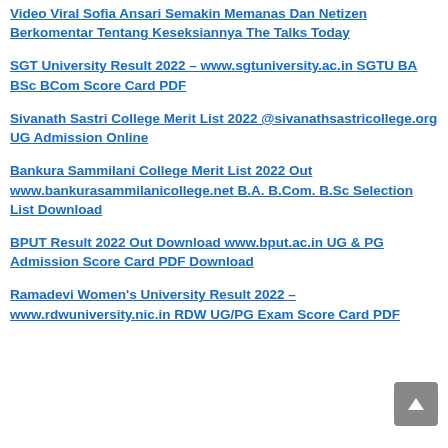Video Viral Sofia Ansari Semakin Memanas Dan Netizen Berkomentar Tentang Keseksiannya The Talks Today
SGT University Result 2022 – www.sgtuniversity.ac.in SGTU BA BSc BCom Score Card PDF
Sivanath Sastri College Merit List 2022 @sivanathsastricollege.org UG Admission Online
Bankura Sammilani College Merit List 2022 Out www.bankurasammilanicollege.net B.A. B.Com. B.Sc Selection List Download
BPUT Result 2022 Out Download www.bput.ac.in UG & PG Admission Score Card PDF Download
Ramadevi Women's University Result 2022 – www.rdwuniversity.nic.in RDW UG/PG Exam Score Card PDF